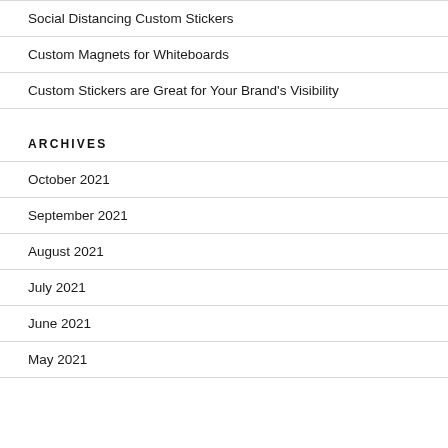Social Distancing Custom Stickers
Custom Magnets for Whiteboards
Custom Stickers are Great for Your Brand's Visibility
ARCHIVES
October 2021
September 2021
August 2021
July 2021
June 2021
May 2021